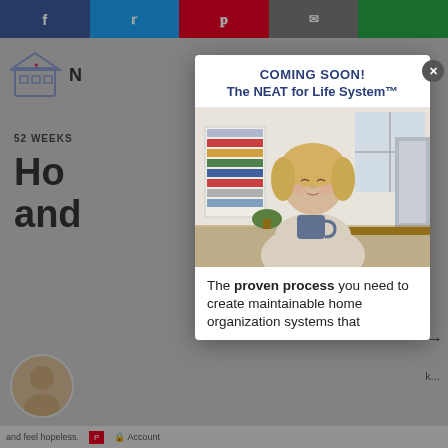[Figure (screenshot): Background webpage with social share bar (Facebook, Twitter, Pinterest, email, green button) across the top, partial logo and house icon on the left, '52 WEEK' text, large text starting with 'Ho' and 'and', and a circular avatar photo at bottom left.]
[Figure (photo): Modal popup showing a woman with eyes closed holding a mug, sitting at a table in a modern home with bookshelves in the background.]
COMING SOON!
The NEAT for Life System™
The proven process you need to create maintainable home organization systems that